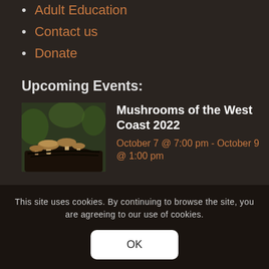Adult Education
Contact us
Donate
Upcoming Events:
[Figure (photo): Photo of mushrooms growing on a dark log in a forest setting]
Mushrooms of the West Coast 2022
October 7 @ 7:00 pm - October 9 @ 1:00 pm
This site uses cookies. By continuing to browse the site, you are agreeing to our use of cookies.
OK
Keep in touch: